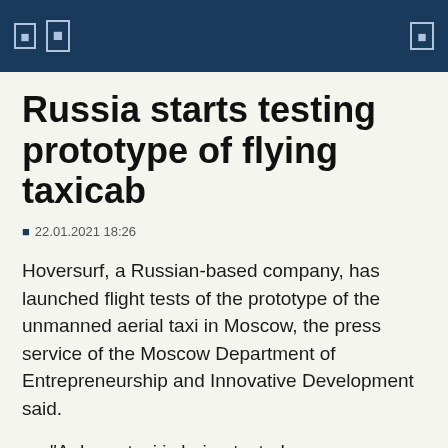Russia starts testing prototype of flying taxicab
22.01.2021 18:26
Hoversurf, a Russian-based company, has launched flight tests of the prototype of the unmanned aerial taxi in Moscow, the press service of the Moscow Department of Entrepreneurship and Innovative Development said.
"A drone taxi is being tested